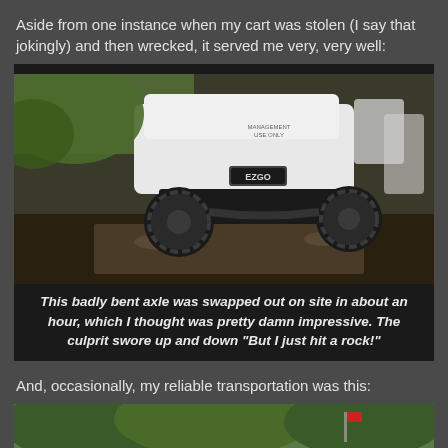Aside from one instance when my cart was stolen (I say that jokingly) and then wrecked, it served me very, very well:
[Figure (photo): Close-up photo of a golf cart (EZGO brand) with a bent axle, wheels on gravel/dirt ground, showing the undercarriage and tires from the rear]
This badly bent axle was swapped out on site in about an hour, which I thought was pretty damn impressive. The culprit swore up and down "But I just hit a rock!"
And, occasionally, my reliable transportation was this:
[Figure (photo): Partial photo of another vehicle (appears to be a golf cart or similar) on a golf course with trees in background]